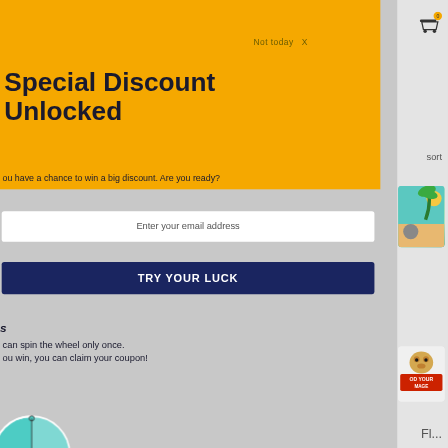Not today  X
Special Discount Unlocked
You have a chance to win a big discount. Are you ready?
Enter your email address
TRY YOUR LUCK
s
can spin the wheel only once.
ou win, you can claim your coupon!